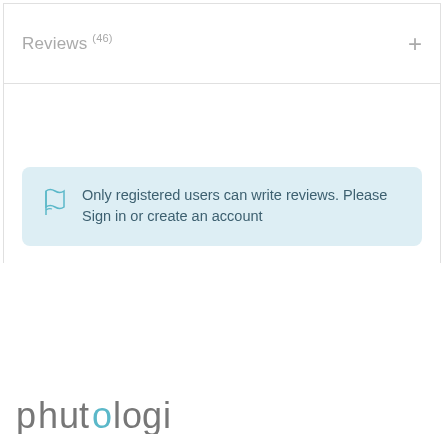Reviews (46)
Only registered users can write reviews. Please Sign in or create an account
[Figure (logo): Phutologic logo in grey with teal 'o' letter]